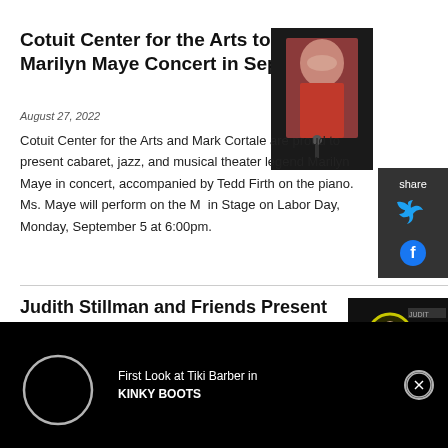Cotuit Center for the Arts to Present Marilyn Maye Concert in September
August 27, 2022
[Figure (photo): Photo of Marilyn Maye performing in a red outfit at a microphone]
Cotuit Center for the Arts and Mark Cortale are proud to present cabaret, jazz, and musical theater legend Marilyn Maye in concert, accompanied by Tedd Firth on the piano. Ms. Maye will perform on the Main Stage on Labor Day, Monday, September 5 at 6:00pm.
Judith Stillman and Friends Present DISTINGUISHED ARTIST SERIES” Announced At Springleaf Hall
[Figure (photo): Photo related to Judith Stillman Distinguished Artist Series]
[Figure (screenshot): Ad overlay: First Look at Tiki Barber in KINKY BOOTS, with loading circle and close button]